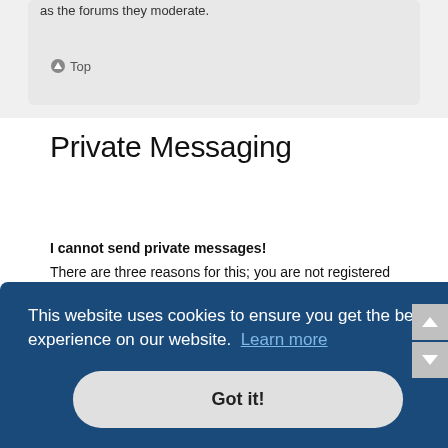as the forums they moderate.
⊙ Top
Private Messaging
I cannot send private messages!
There are three reasons for this; you are not registered and/or not logged on, the board administrator has disabled private messaging for the entire board, or the board administrator has prevented you from sending messages. Contact a board administrator for more information.
This website uses cookies to ensure you get the best experience on our website. Learn more
Got it!